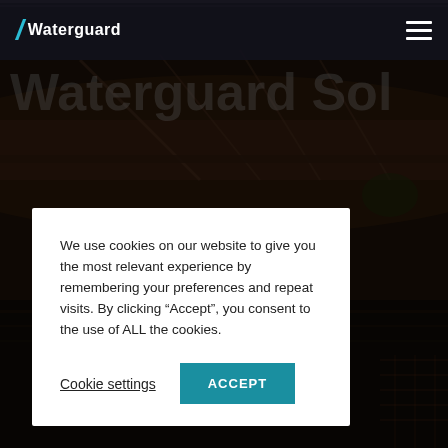Waterguard
[Figure (photo): Dark atmospheric photograph of a canal or waterway with bridge structure, buildings, and trees reflected in dark water]
We use cookies on our website to give you the most relevant experience by remembering your preferences and repeat visits. By clicking “Accept”, you consent to the use of ALL the cookies.
Cookie settings
ACCEPT